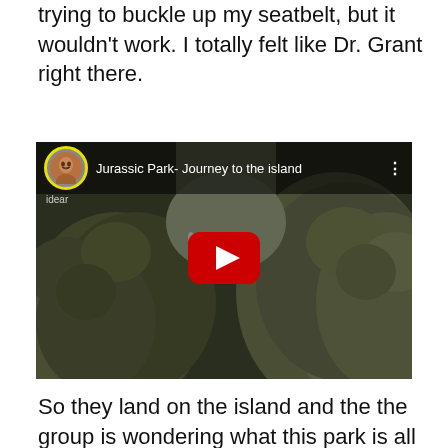trying to buckle up my seatbelt, but it wouldn't work. I totally felt like Dr. Grant right there.
[Figure (screenshot): Embedded YouTube video player showing 'Jurassic Park- Journey to the island' with a dark forested cliff background, a yellow-ringed avatar thumbnail, and a red YouTube play button in the center.]
So they land on the island and the the group is wondering what this park is all about. The only one who knows what it